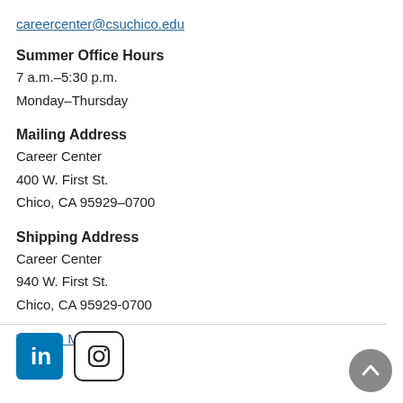careercenter@csuchico.edu
Summer Office Hours
7 a.m.–5:30 p.m.
Monday–Thursday
Mailing Address
Career Center
400 W. First St.
Chico, CA 95929–0700
Shipping Address
Career Center
940 W. First St.
Chico, CA 95929-0700
View on Map
[Figure (logo): LinkedIn logo icon (blue square with 'in' text) and Instagram logo icon (camera outline in circle)]